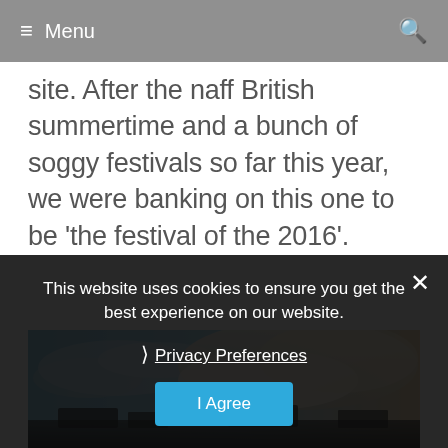≡ Menu
site. After the naff British summertime and a bunch of soggy festivals so far this year, we were banking on this one to be 'the festival of the 2016'.
[Figure (photo): Outdoor sky photo showing blue sky with clouds and a warm golden tint on the right side, with dark festival grounds visible at the bottom]
This website uses cookies to ensure you get the best experience on our website.

› Privacy Preferences

I Agree